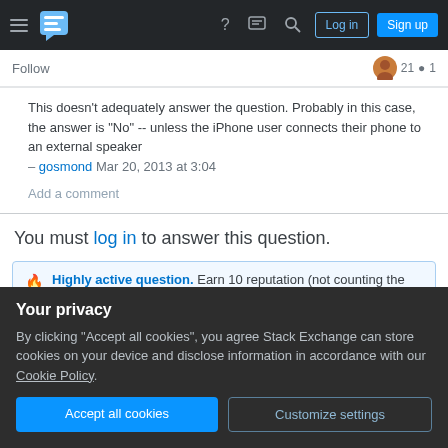Stack Exchange navigation bar with hamburger menu, logo, help icon, chat icon, search icon, Log in button, Sign up button
Follow
This doesn't adequately answer the question. Probably in this case, the answer is "No" -- unless the iPhone user connects their phone to an external speaker
– gosmond Mar 20, 2013 at 3:04
Add a comment
You must log in to answer this question.
🔥 Highly active question. Earn 10 reputation (not counting the
Your privacy
By clicking "Accept all cookies", you agree Stack Exchange can store cookies on your device and disclose information in accordance with our Cookie Policy.
Accept all cookies
Customize settings